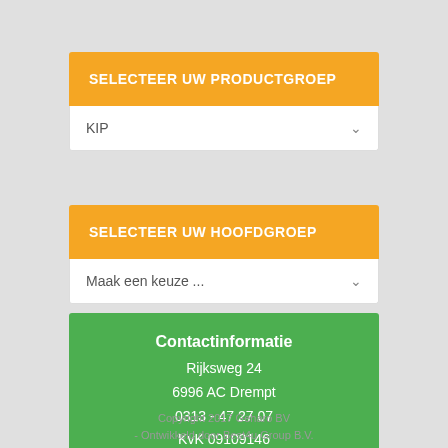SELECTEER UW PRODUCTGROEP
KIP
SELECTEER UW HOOFDGROEP
Maak een keuze ...
Contactinformatie
Rijksweg 24
6996 AC Drempt
0313 - 47 27 07
KvK 09109146
Privacyverklaring
Copyright 2017 Geharo BV - Ontwikkeld door Best4u Group B.V.